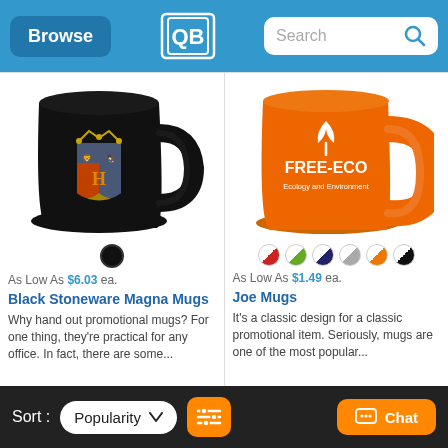Browse | [Logo] | Search
[Figure (photo): Black stoneware mug with Hogwarts crest (Harry Potter themed)]
As Low As $6.03 ea.
Black Stoneware Magna Mugs
Why hand out promotional mugs? For one thing, they're practical for any office. In fact, there are some...
[Figure (photo): Orange Free-Eco branded mug with leaf logo and text 'Ecology and Environment']
As Low As $1.49 ea.
Joe Mugs
It's a classic design for a classic promotional item. Seriously, mugs are one of the most popular...
Sort: Popularity [filter] [Chat]